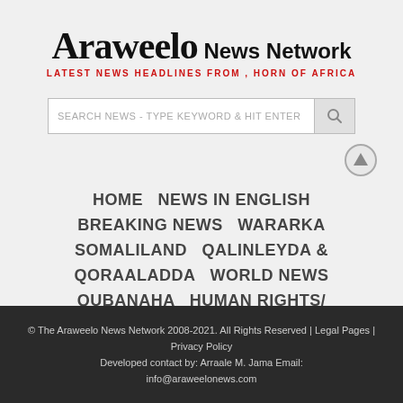Araweelo News Network — LATEST NEWS HEADLINES FROM , HORN OF AFRICA
SEARCH NEWS - TYPE KEYWORD & HIT ENTER
HOME   NEWS IN ENGLISH   BREAKING NEWS   WARARKA   SOMALILAND   QALINLEYDA & QORAALADDA   WORLD NEWS   QUBANAHA   HUMAN RIGHTS/ HEALTH & EDUCATION/   MAGAZINE   EDITORIAL   CONTACT   ABOUT US
© The Araweelo News Network 2008-2021. All Rights Reserved | Legal Pages | Privacy Policy Developed contact by: Arraale M. Jama Email: info@araweelonews.com